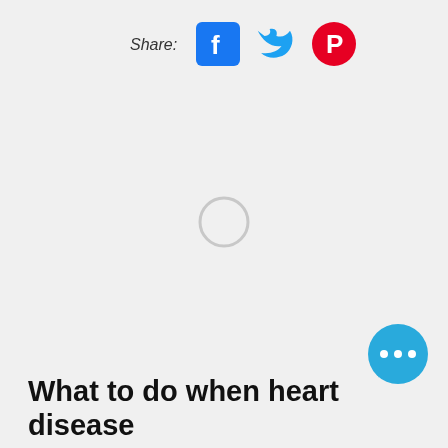Share:
[Figure (infographic): Social share icons: Facebook (blue square with f), Twitter (blue bird), Pinterest (red circle with P)]
[Figure (other): Loading spinner circle (light gray ring) centered on page]
[Figure (other): Chat button - teal/cyan circle with three dots (ellipsis) in bottom right corner]
What to do when heart disease